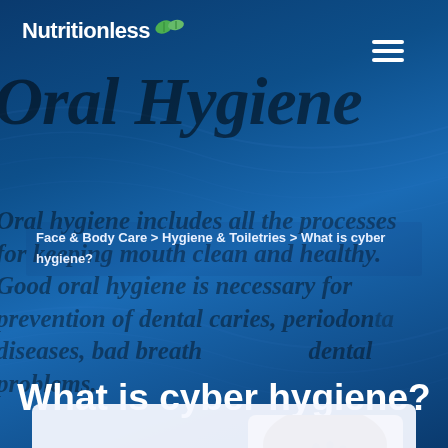Nutritionless
Oral Hygiene
Oral hygiene includes all the processes for keeping mouth clean and healthy. Good oral hygiene is necessary for prevention of dental caries, periodontal diseases, bad breath dental problems.
Face & Body Care > Hygiene & Toiletries > What is cyber hygiene?
What is cyber hygiene?
[Figure (illustration): Anatomical illustration of an open mouth showing teeth, tongue, and surrounding oral structures from a front-facing view]
Author Nutritionless / 03/01/2022 11:14 AM / 03/01/2022 11:14 AM